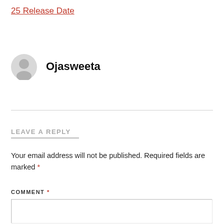25 Release Date
[Figure (illustration): Gray avatar/user icon circle]
Ojasweeta
LEAVE A REPLY
Your email address will not be published. Required fields are marked *
COMMENT *